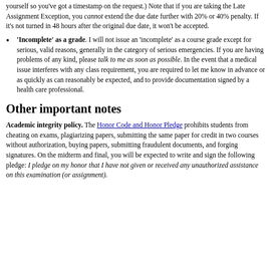yourself so you've got a timestamp on the request.) Note that if you are taking the Late Assignment Exception, you cannot extend the due date further with 20% or 40% penalty. If it's not turned in 48 hours after the original due date, it won't be accepted.
'Incomplete' as a grade. I will not issue an 'incomplete' as a course grade except for serious, valid reasons, generally in the category of serious emergencies. If you are having problems of any kind, please talk to me as soon as possible. In the event that a medical issue interferes with any class requirement, you are required to let me know in advance or as quickly as can reasonably be expected, and to provide documentation signed by a health care professional.
Other important notes
Academic integrity policy. The Honor Code and Honor Pledge prohibits students from cheating on exams, plagiarizing papers, submitting the same paper for credit in two courses without authorization, buying papers, submitting fraudulent documents, and forging signatures. On the midterm and final, you will be expected to write and sign the following pledge: I pledge on my honor that I have not given or received any unauthorized assistance on this examination (or assignment).